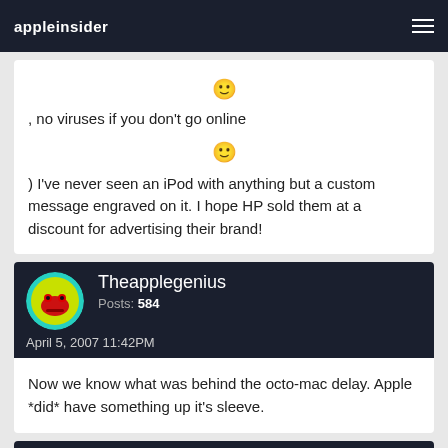appleinsider
:) , no viruses if you don't go online :) ) I've never seen an iPod with anything but a custom message engraved on it. I hope HP sold them at a discount for advertising their brand!
Theapplegenius
Posts: 584
April 5, 2007 11:42PM
Now we know what was behind the octo-mac delay. Apple *did* have something up it's sleeve.
Nvidia2008